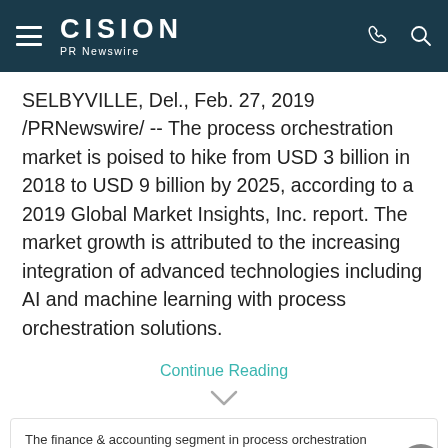CISION PR Newswire
SELBYVILLE, Del., Feb. 27, 2019 /PRNewswire/ -- The process orchestration market is poised to hike from USD 3 billion in 2018 to USD 9 billion by 2025, according to a 2019 Global Market Insights, Inc. report. The market growth is attributed to the increasing integration of advanced technologies including AI and machine learning with process orchestration solutions.
Continue Reading
The finance & accounting segment in process orchestration market is projected to grow at a CAGR of over 15% between 2019 to 2025.